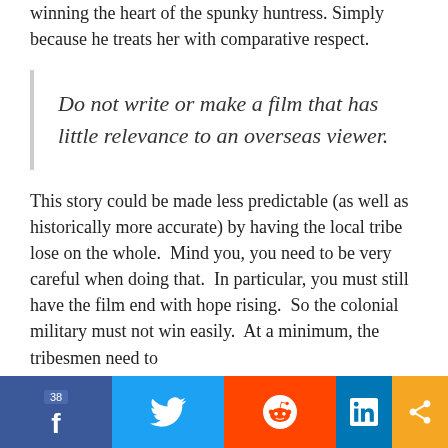winning the heart of the spunky huntress. Simply because he treats her with comparative respect.
Do not write or make a film that has little relevance to an overseas viewer.
This story could be made less predictable (as well as historically more accurate) by having the local tribe lose on the whole.  Mind you, you need to be very careful when doing that.  In particular, you must still have the film end with hope rising.  So the colonial military must not win easily.  At a minimum, the tribesmen need to
38 f [Twitter] [Reddit] in [share]